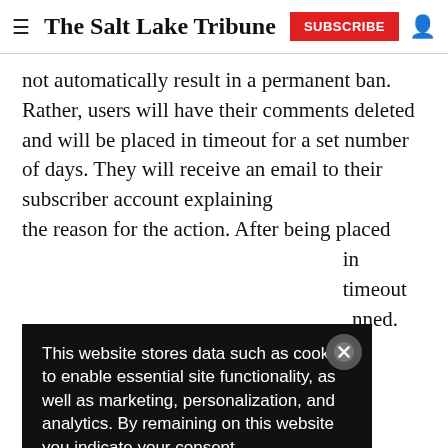The Salt Lake Tribune | SUBSCRIBE
not automatically result in a permanent ban. Rather, users will have their comments deleted and will be placed in timeout for a set number of days. They will receive an email to their subscriber account explaining the reason for the action. After being placed in timeout [text continues] in timeout [text continues] nned. The
This website stores data such as cookies to enable essential site functionality, as well as marketing, personalization, and analytics. By remaining on this website you indicate your consent.

Data Storage Policy